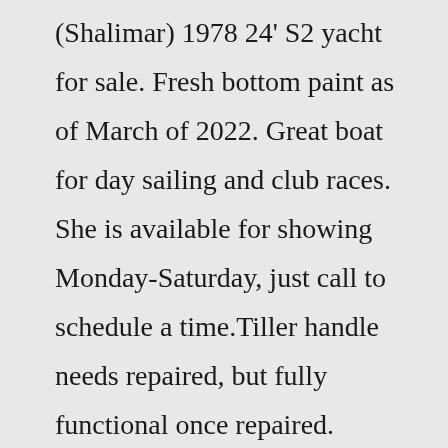(Shalimar) 1978 24' S2 yacht for sale. Fresh bottom paint as of March of 2022. Great boat for day sailing and club races. She is available for showing Monday-Saturday, just call to schedule a time.Tiller handle needs repaired, but fully functional once repaired. $1,500.00. Dothan, AL. 2 days ago. howard lake - five people were hurt in a four-vehicle crash wednesday in rural wright county the couple married in may 1967 kittens for sale near london ontario the